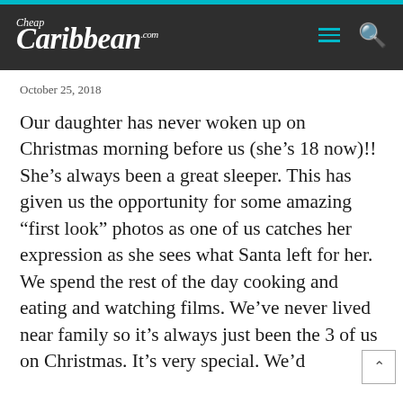CheapCaribbean.com
October 25, 2018
Our daughter has never woken up on Christmas morning before us (she's 18 now)!! She's always been a great sleeper. This has given us the opportunity for some amazing “first look” photos as one of us catches her expression as she sees what Santa left for her. We spend the rest of the day cooking and eating and watching films. We've never lived near family so it's always just been the 3 of us on Christmas. It's very special. We'd